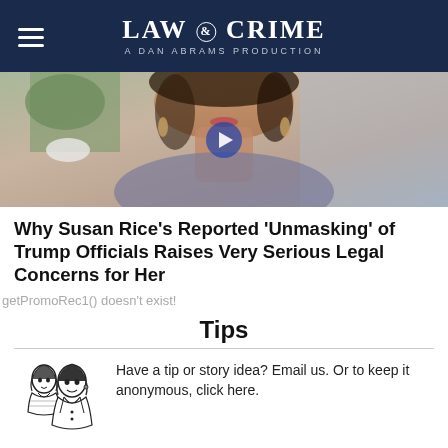LAW & CRIME — A DAN ABRAMS PRODUCTION
[Figure (photo): Close-up photo of a woman's face and neck, partially visible, wearing earrings and a blue-grey top, with a plant in the background]
Why Susan Rice's Reported 'Unmasking' of Trump Officials Raises Very Serious Legal Concerns for Her
getPromoRec1() doesn't exist!
Tips
[Figure (illustration): Black and white retro illustration of two women whispering to each other]
Have a tip or story idea? Email us. Or to keep it anonymous, click here.
You may also like: